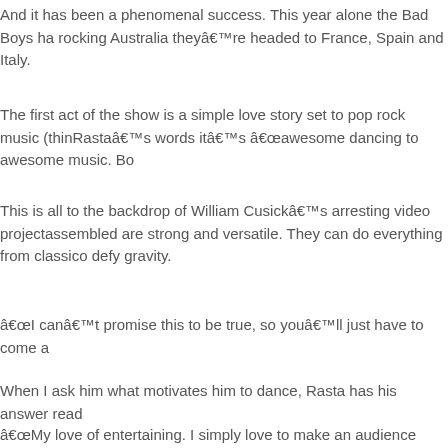And it has been a phenomenal success. This year alone the Bad Boys ha... rocking Australia they’re headed to France, Spain and Italy.
The first act of the show is a simple love story set to pop rock music (thin... Rasta’s words it’s “awesome dancing to awesome music. Bo...
This is all to the backdrop of William Cusick’s arresting video project... assembled are strong and versatile. They can do everything from classic... defy gravity.
“I can’t promise this to be true, so you’ll just have to come a...
When I ask him what motivates him to dance, Rasta has his answer read...
“My love of entertaining. I simply love to make an audience cheer. No...